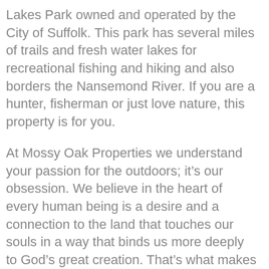Lakes Park owned and operated by the City of Suffolk. This park has several miles of trails and fresh water lakes for recreational fishing and hiking and also borders the Nansemond River. If you are a hunter, fisherman or just love nature, this property is for you.
At Mossy Oak Properties we understand your passion for the outdoors; it’s our obsession. We believe in the heart of every human being is a desire and a connection to the land that touches our souls in a way that binds us more deeply to God’s great creation. That’s what makes owning your own piece of ground so fulfilling.
Like many of our customers, our brokers love to